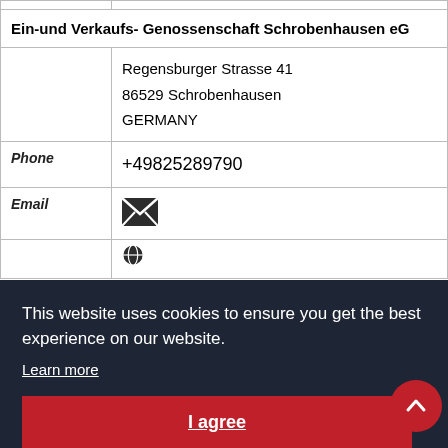| Ein-und Verkaufs- Genossenschaft Schrobenhausen eG |
|  | Regensburger Strasse 41
86529 Schrobenhausen
GERMANY |
| Phone | +49825289790 |
| Email | [envelope icon] |
This website uses cookies to ensure you get the best experience on our website.
Learn more
I agree